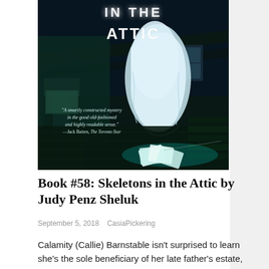[Figure (illustration): Book cover of 'Skeletons in the Attic' showing a dark, moody attic scene with a ghostly draped figure, tarot cards on the floor, old chair, and the text 'IN THE ATTIC' at top in distressed white lettering. A quote reads: "A smartly constructed mystery in the good old-fashioned and highly readable sense." — Jack Batten, The Toronto Star]
Book #58: Skeletons in the Attic by Judy Penz Sheluk
September 5, 2018    CasiaPickering
Calamity (Callie) Barnstable isn't surprised to learn she's the sole beneficiary of her late father's estate, though she is